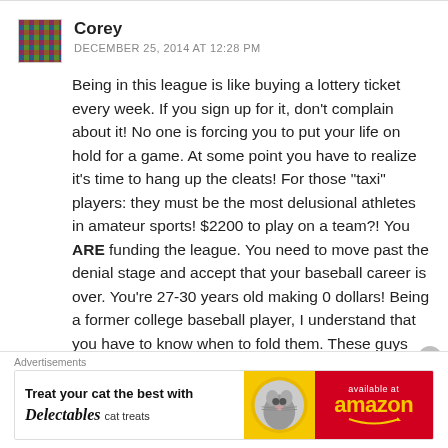Corey
DECEMBER 25, 2014 AT 12:28 PM
Being in this league is like buying a lottery ticket every week. If you sign up for it, don’t complain about it! No one is forcing you to put your life on hold for a game. At some point you have to realize it’s time to hang up the cleats! For those “taxi” players: they must be the most delusional athletes in amateur sports! $2200 to play on a team?! You ARE funding the league. You need to move past the denial stage and accept that your baseball career is over. You’re 27-30 years old making 0 dollars! Being a former college baseball player, I understand that you have to know when to fold them. These guys are
[Figure (other): Advertisement banner: Delectables cat treats, available at Amazon]
Advertisements